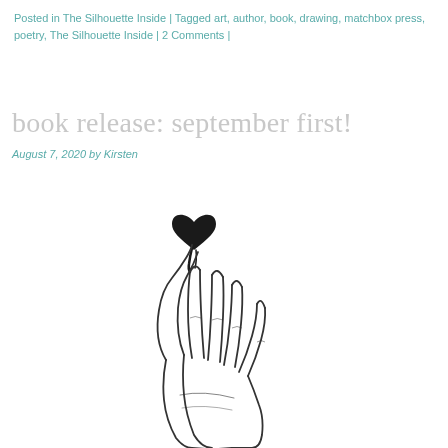Posted in The Silhouette Inside | Tagged art, author, book, drawing, matchbox press, poetry, The Silhouette Inside | 2 Comments |
book release: september first!
August 7, 2020 by Kirsten
[Figure (illustration): Line drawing of a hand holding up a small dark ink-dripping heart shape between thumb and forefinger, with the rest of the fingers extended upward.]